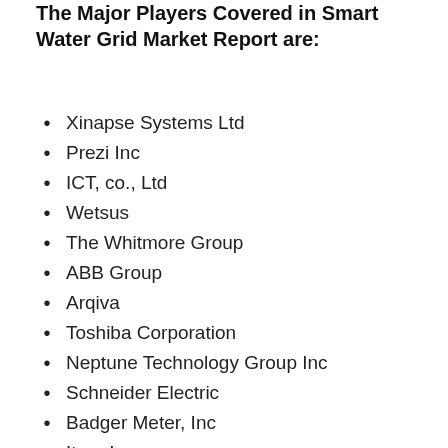The Major Players Covered in Smart Water Grid Market Report are:
Xinapse Systems Ltd
Prezi Inc
ICT, co., Ltd
Wetsus
The Whitmore Group
ABB Group
Arqiva
Toshiba Corporation
Neptune Technology Group Inc
Schneider Electric
Badger Meter, Inc
Itron Inc
Sensus Worldwide Holdings Ltd.
Siemens AG